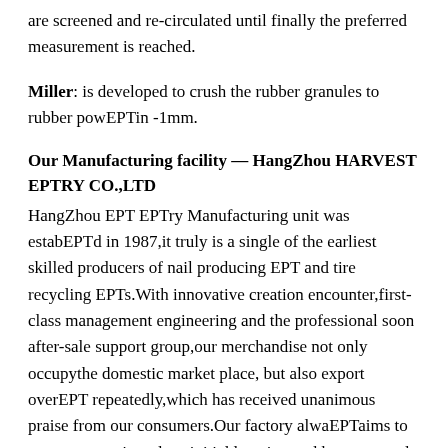are screened and re-circulated until finally the preferred measurement is reached.
Miller: is developed to crush the rubber granules to rubber powEPTin -1mm.
Our Manufacturing facility — HangZhou HARVEST EPTRY CO.,LTD
HangZhou EPT EPTry Manufacturing unit was estabEPTd in 1987,it truly is a single of the earliest skilled producers of nail producing EPT and tire recycling EPTs.With innovative creation encounter,first-class management engineering and the professional soon after-sale support group,our merchandise not only occupythe domestic market place, but also export overEPT repeatedly,which has received unanimous praise from our consumers.Our factory alwaEPTaims to put customers' needs at initial location,and has constantly tried to upgrade its items for more than 20 many years. The main merchandise now– nail making EPT